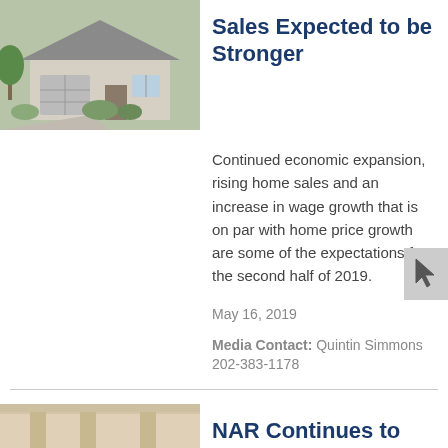[Figure (photo): Exterior photo of a single-story suburban house with a driveway and landscaping]
Sales Expected to be Stronger
Continued economic expansion, rising home sales and an increase in wage growth that is on par with home price growth are some of the expectations for the second half of 2019.
May 16, 2019
Media Contact: Quintin Simmons 202-383-1178
[Figure (photo): Interior photo of a room with columns and furniture]
NAR Continues to